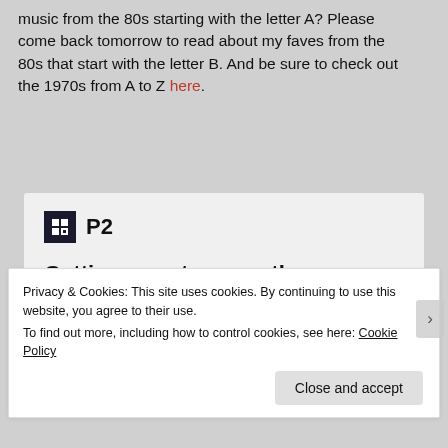music from the 80s starting with the letter A? Please come back tomorrow to read about my faves from the 80s that start with the letter B. And be sure to check out the 1970s from A to Z here.
[Figure (screenshot): P2 advertisement box with logo, headline 'Getting your team on the same page is easy. And free.', and four avatar circles.]
Privacy & Cookies: This site uses cookies. By continuing to use this website, you agree to their use.
To find out more, including how to control cookies, see here: Cookie Policy